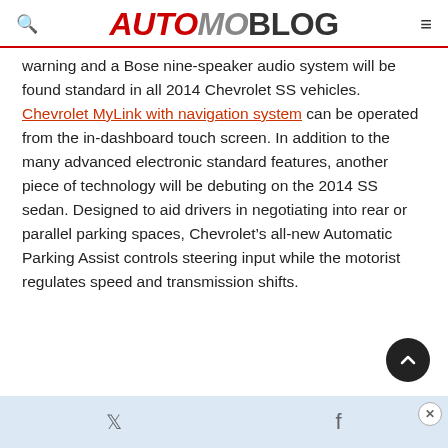AUTOMOBLOG
warning and a Bose nine-speaker audio system will be found standard in all 2014 Chevrolet SS vehicles. Chevrolet MyLink with navigation system can be operated from the in-dashboard touch screen. In addition to the many advanced electronic standard features, another piece of technology will be debuting on the 2014 SS sedan. Designed to aid drivers in negotiating into rear or parallel parking spaces, Chevrolet’s all-new Automatic Parking Assist controls steering input while the motorist regulates speed and transmission shifts.